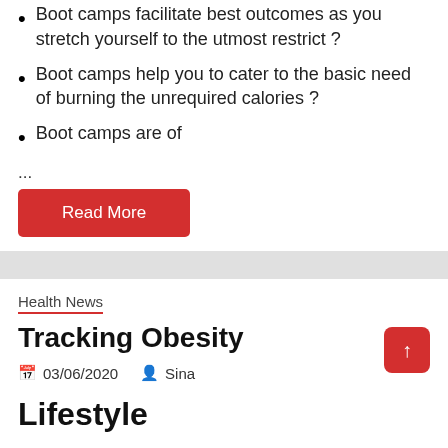Boot camps facilitate best outcomes as you stretch yourself to the utmost restrict ?
Boot camps help you to cater to the basic need of burning the unrequired calories ?
Boot camps are of
...
Read More
Health News
Tracking Obesity
03/06/2020   Sina
Lifestyle